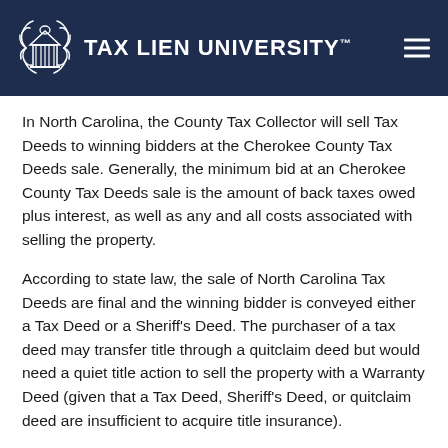TAX LIEN UNIVERSITY
In North Carolina, the County Tax Collector will sell Tax Deeds to winning bidders at the Cherokee County Tax Deeds sale. Generally, the minimum bid at an Cherokee County Tax Deeds sale is the amount of back taxes owed plus interest, as well as any and all costs associated with selling the property.
According to state law, the sale of North Carolina Tax Deeds are final and the winning bidder is conveyed either a Tax Deed or a Sheriff's Deed. The purchaser of a tax deed may transfer title through a quitclaim deed but would need a quiet title action to sell the property with a Warranty Deed (given that a Tax Deed, Sheriff's Deed, or quitclaim deed are insufficient to acquire title insurance).
Pursuant to acquiring the Cherokee County Tax Deed...